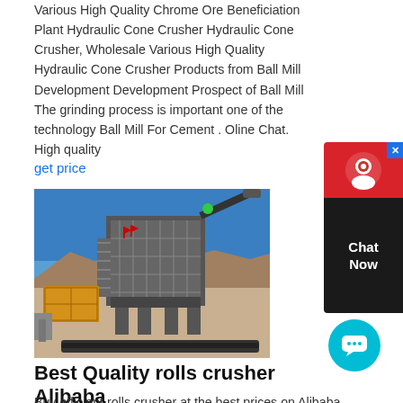Various High Quality Chrome Ore Beneficiation Plant Hydraulic Cone Crusher Hydraulic Cone Crusher, Wholesale Various High Quality Hydraulic Cone Crusher Products from Ball Mill Development Development Prospect of Ball Mill The grinding process is important one of the technology Ball Mill For Cement . Oline Chat. High quality
get price
[Figure (photo): Photograph of large industrial mining/crushing machinery at an outdoor site with mountains in the background and blue sky. The machine appears to be a crusher or ore processing unit on a raised platform with stairs and conveyor belts.]
Best Quality rolls crusher Alibaba
Buy efficient rolls crusher at the best prices on Alibaba. These